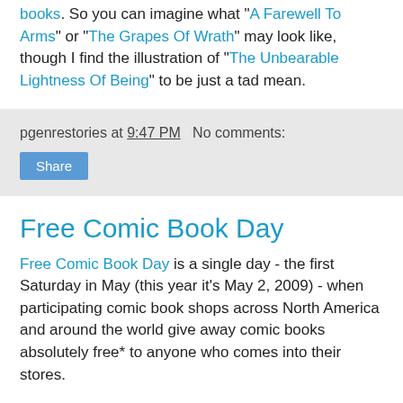books. So you can imagine what "A Farewell To Arms" or "The Grapes Of Wrath" may look like, though I find the illustration of "The Unbearable Lightness Of Being" to be just a tad mean.
pgenrestories at 9:47 PM   No comments:
Share
Free Comic Book Day
Free Comic Book Day is a single day - the first Saturday in May (this year it's May 2, 2009) - when participating comic book shops across North America and around the world give away comic books absolutely free* to anyone who comes into their stores.
Here's the International Store Locator.
*Check with your local shop for their participation and rules.